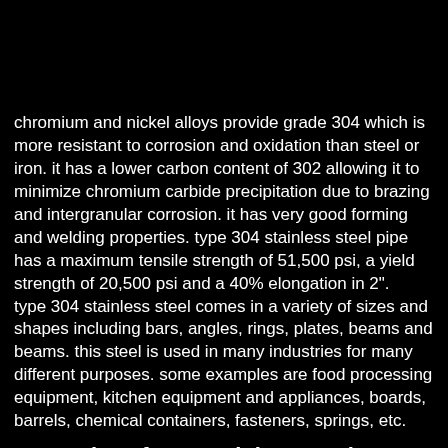chromium and nickel alloys provide grade 304 which is more resistant to corrosion and oxidation than steel or iron. it has a lower carbon content of 302 allowing it to minimize chromium carbide precipitation due to brazing and intergranular corrosion. it has very good forming and welding properties. type 304 stainless steel pipe has a maximum tensile strength of 51,500 psi, a yield strength of 20,500 psi and a 40% elongation in 2".
type 304 stainless steel comes in a variety of sizes and shapes including bars, angles, rings, plates, beams and beams. this steel is used in many industries for many different purposes. some examples are food processing equipment, kitchen equipment and appliances, boards, barrels, chemical containers, fasteners, springs, etc.
properties of 316  stainless steel
type 316 stainless steel pipe is an austenitic stainless steel containing molybdenum. it is austenitic, non-magnetic, and non-